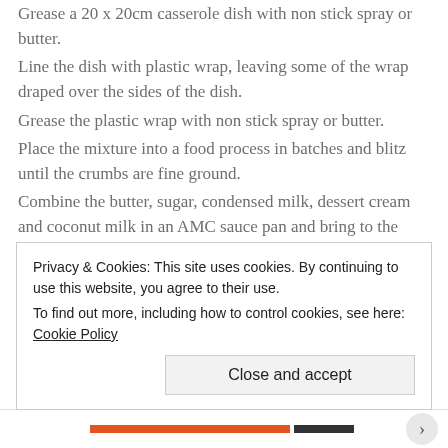Grease a 20 x 20cm casserole dish with non stick spray or butter.
Line the dish with plastic wrap, leaving some of the wrap draped over the sides of the dish.
Grease the plastic wrap with non stick spray or butter.
Place the mixture into a food process in batches and blitz until the crumbs are fine ground.
Combine the butter, sugar, condensed milk, dessert cream and coconut milk in an AMC sauce pan and bring to the boil.
Reduce the heat and simmer while stirring.
Privacy & Cookies: This site uses cookies. By continuing to use this website, you agree to their use.
To find out more, including how to control cookies, see here: Cookie Policy